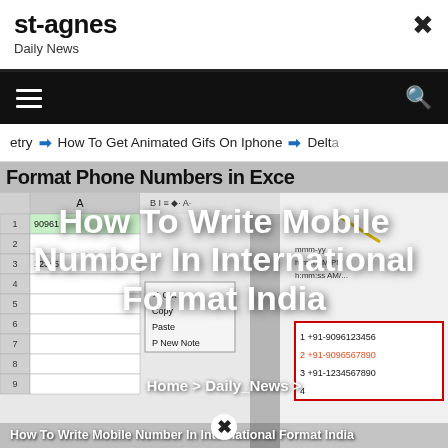st-agnes
Daily News
[Figure (screenshot): Website screenshot showing st-agnes Daily News site with navigation bar (hamburger menu and search icon), a nav strip with links including 'How To Get Animated Gifs On Iphone' and 'Delta', a hero image of an Excel phone number formatting tutorial overlaid with the article title 'How To Write Mobile Number In International Format India', breadcrumb navigation 'Home > Daily_News >', and article title caption at the bottom.]